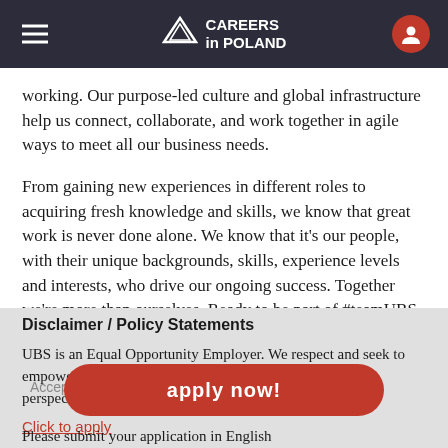CAREERS in POLAND
working. Our purpose-led culture and global infrastructure help us connect, collaborate, and work together in agile ways to meet all our business needs.
From gaining new experiences in different roles to acquiring fresh knowledge and skills, we know that great work is never done alone. We know that it's our people, with their unique backgrounds, skills, experience levels and interests, who drive our ongoing success. Together we're more than ourselves. Ready to be part of #teamUBS and make an impact?
Disclaimer / Policy Statements
UBS is an Equal Opportunity Employer. We respect and seek to empower each individual and support the diverse cultures, perspectives, skills and experiences within our workforce.
Click to apply
Please submit your application in English